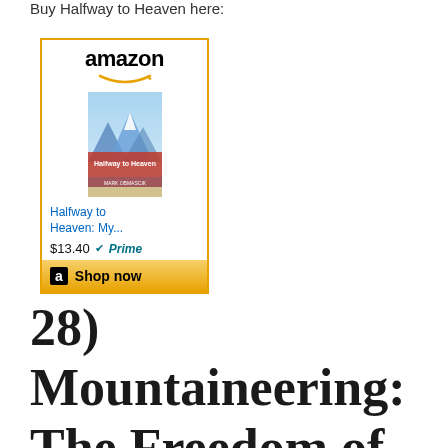Buy Halfway to Heaven here:
[Figure (other): Amazon affiliate widget for the book 'Halfway to Heaven: My...' priced at $13.40 with Prime. Shows Amazon logo, book cover image, title link, price, and a Shop now button.]
28) Mountaineering: The Freedom of the Hills